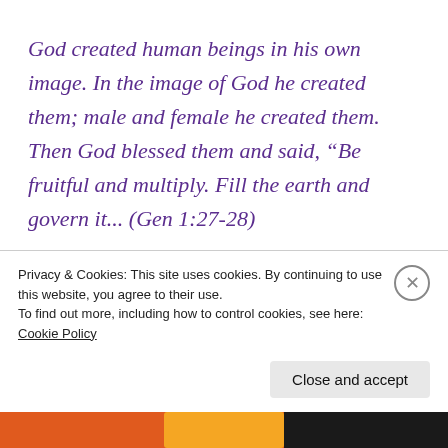God created human beings in his own image. In the image of God he created them; male and female he created them. Then God blessed them and said, “Be fruitful and multiply. Fill the earth and govern it... (Gen 1:27-28)
He provided for their every need and they lived in complete dependence on, and beautiful
Privacy & Cookies: This site uses cookies. By continuing to use this website, you agree to their use.
To find out more, including how to control cookies, see here: Cookie Policy
Close and accept